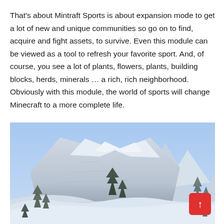That's about Mintraft Sports is about expansion mode to get a lot of new and unique communities so go on to find, acquire and fight assets, to survive. Even this module can be viewed as a tool to refresh your favorite sport. And, of course, you see a lot of plants, flowers, plants, building blocks, herds, minerals … a rich, rich neighborhood. Obviously with this module, the world of sports will change Minecraft to a more complete life.
[Figure (screenshot): Minecraft winter landscape screenshot showing snow-covered blocky mountains and hills with pine trees under a light blue sky. A red scroll-to-top button with an upward arrow is visible in the lower right corner.]